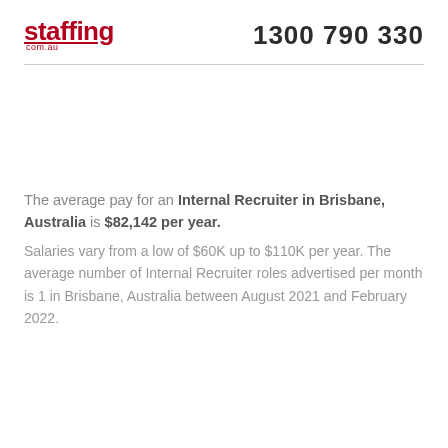staffing com.au   1300 790 330
The average pay for an Internal Recruiter in Brisbane, Australia is $82,142 per year. Salaries vary from a low of $60K up to $110K per year. The average number of Internal Recruiter roles advertised per month is 1 in Brisbane, Australia between August 2021 and February 2022.